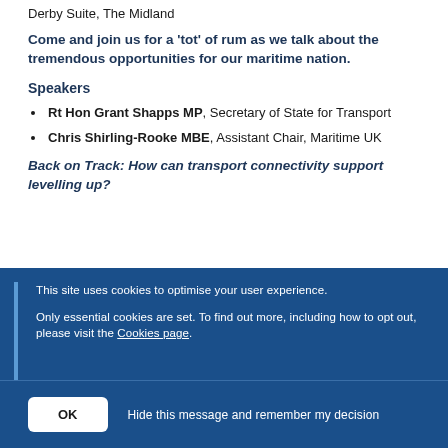Derby Suite, The Midland
Come and join us for a 'tot' of rum as we talk about the tremendous opportunities for our maritime nation.
Speakers
Rt Hon Grant Shapps MP, Secretary of State for Transport
Chris Shirling-Rooke MBE, Assistant Chair, Maritime UK
Back on Track: How can transport connectivity support levelling up?
This site uses cookies to optimise your user experience.
Only essential cookies are set. To find out more, including how to opt out, please visit the Cookies page.
OK  Hide this message and remember my decision